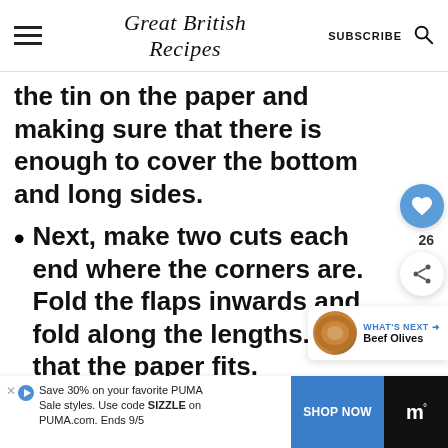Great British Recipes | SUBSCRIBE
the tin on the paper and making sure that there is enough to cover the bottom and long sides.
Next, make two cuts each end where the corners are. Fold the flaps inwards and fold along the lengths. Now that the paper fits.
[Figure (other): Floating UI panel with heart/like button (26 likes) and share button]
[Figure (other): What's Next thumbnail showing Beef Olives dish]
[Figure (other): Advertisement bar: Save 30% on your favorite PUMA Sale styles. Use code SIZZLE on PUMA.com. Ends 9/5. SHOP NOW button.]